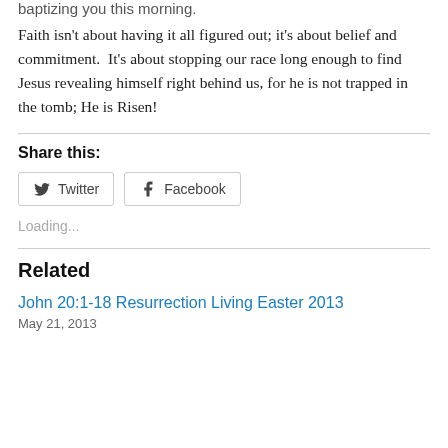baptizing you this morning.
Faith isn't about having it all figured out; it's about belief and commitment.  It's about stopping our race long enough to find Jesus revealing himself right behind us, for he is not trapped in the tomb; He is Risen!
Share this:
Loading...
Related
John 20:1-18 Resurrection Living Easter 2013
May 21, 2013